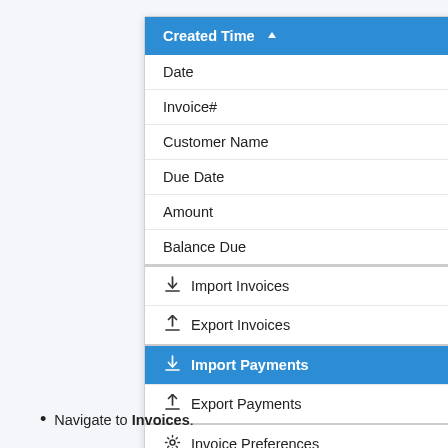[Figure (screenshot): Dropdown menu showing columns and actions: Created Time (selected/sorted header, blue), Date, Invoice#, Customer Name, Due Date, Amount, Balance Due, Import Invoices, Export Invoices, Import Payments (highlighted blue/active), Export Payments, Invoice Preferences, Refresh List]
Navigate to Invoices.